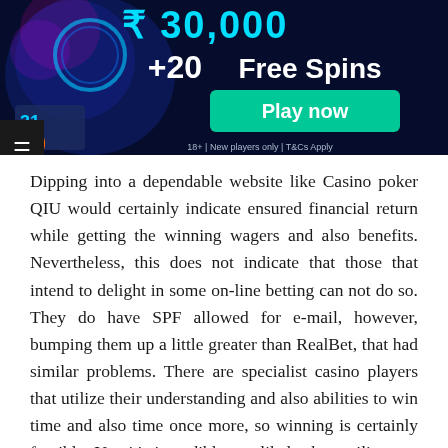[Figure (infographic): Casino advertisement banner with dark blue background, neon city/game imagery on left, large text '₹ 30,000 +20 Free Spins' with a teal 'Play now' button, and fine print '18+ | New players only | T&Cs Apply' at bottom. Hamburger menu icon overlay at bottom-left.]
Dipping into a dependable website like Casino poker QIU would certainly indicate ensured financial return while getting the winning wagers and also benefits. Nevertheless, this does not indicate that those that intend to delight in some on-line betting can not do so. They do have SPF allowed for e-mail, however, bumping them up a little greater than RealBet, that had similar problems. There are specialist casino players that utilize their understanding and also abilities to win time and also time once more, so winning is certainly feasible. Yet, it's incredibly not likely they utilize any one set system. So our finest suggestions below are to